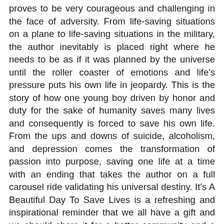proves to be very courageous and challenging in the face of adversity. From life-saving situations on a plane to life-saving situations in the military, the author inevitably is placed right where he needs to be as if it was planned by the universe until the roller coaster of emotions and life's pressure puts his own life in jeopardy. This is the story of how one young boy driven by honor and duty for the sake of humanity saves many lives and consequently is forced to save his own life. From the ups and downs of suicide, alcoholism, and depression comes the transformation of passion into purpose, saving one life at a time with an ending that takes the author on a full carousel ride validating his universal destiny. It's A Beautiful Day To Save Lives is a refreshing and inspirational reminder that we all have a gift and we should share it for a better community and a better planet.